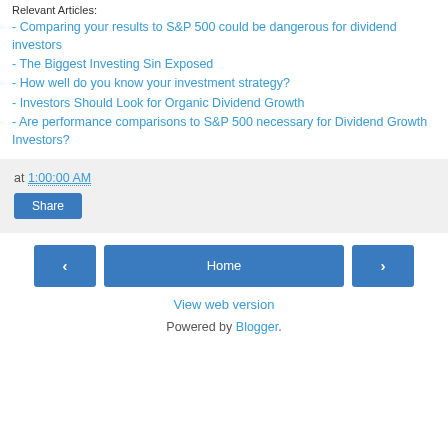Relevant Articles:
- Comparing your results to S&P 500 could be dangerous for dividend investors
- The Biggest Investing Sin Exposed
- How well do you know your investment strategy?
- Investors Should Look for Organic Dividend Growth
- Are performance comparisons to S&P 500 necessary for Dividend Growth Investors?
at 1:00:00 AM
Share
Home
View web version
Powered by Blogger.